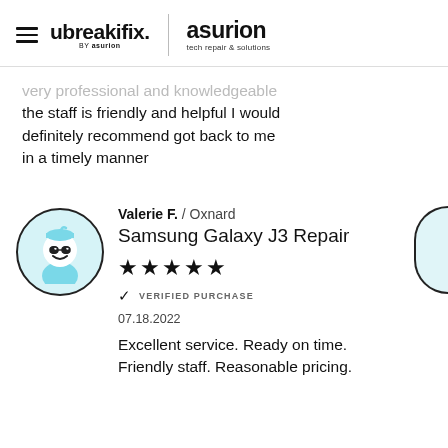[Figure (logo): ubreakifix by asurion logo and asurion tech repair & solutions logo with hamburger menu icon]
very professional and knowledgeable the staff is friendly and helpful I would definitely recommend got back to me in a timely manner
Valerie F. / Oxnard
Samsung Galaxy J3 Repair
[Figure (other): Five black star rating]
✓ VERIFIED PURCHASE
07.18.2022
Excellent service. Ready on time. Friendly staff. Reasonable pricing.